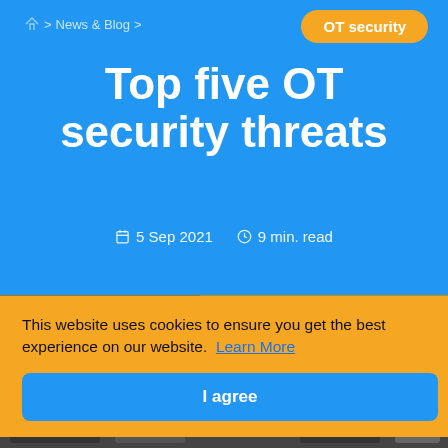Home > News & Blog >
OT security
Top five OT security threats
5 Sep 2021   9 min. read
This website uses cookies to ensure you get the best experience on our website.  Learn More
I agree